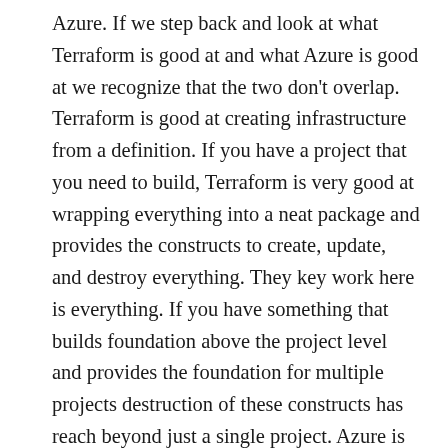Azure. If we step back and look at what Terraform is good at and what Azure is good at we recognize that the two don't overlap. Terraform is good at creating infrastructure from a definition. If you have a project that you need to build, Terraform is very good at wrapping everything into a neat package and provides the constructs to create, update, and destroy everything. They key work here is everything. If you have something that builds foundation above the project level and provides the foundation for multiple projects destruction of these constructs has reach beyond just a single project. Azure is also very good at creating a boundary around projects as we will see with Resource Groups but also has tools to build resources above the project layer that cross multiple projects. Roles and Groups are two examples of this higher layer. You might create a database administrator group or a secure network connection